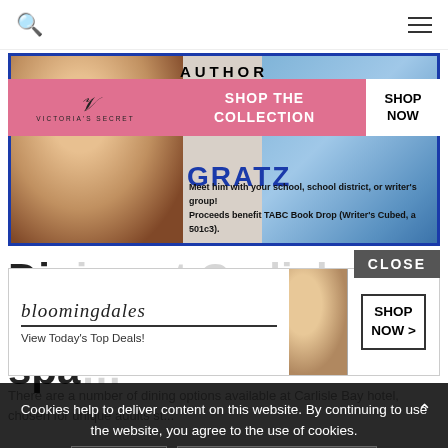Search | Menu
[Figure (advertisement): Author promotion ad with blue border showing a person on left, AUTHOR label at top, GRATZ text, and meeting/event info text at bottom]
[Figure (advertisement): Victoria's Secret pink banner ad: VS logo, SHOP THE COLLECTION text, SHOP NOW button]
Dining at Carlisle Bay and spa
[Figure (advertisement): CLOSE button overlay]
[Figure (advertisement): Bloomingdales ad: bloomingdales logo, View Today's Top Deals!, woman with hat, SHOP NOW > button]
There are a number of dining options available at Carlisle Bay hotel, chosen for unique adults...Restaurant 1894 (new for 2016), the Mediterranean style Beach Club Restaurant down on the sand, the informal, al-...serving a...you can order to your room.
Cookies help to deliver content on this website. By continuing to use the website, you agree to the use of cookies.
OK | MORE INFORMATION